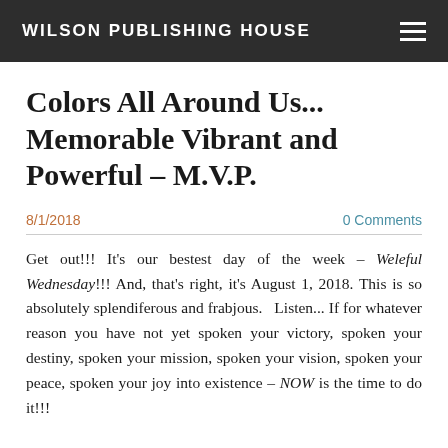WILSON PUBLISHING HOUSE
Colors All Around Us... Memorable Vibrant and Powerful – M.V.P.
8/1/2018    0 Comments
Get out!!! It's our bestest day of the week – Weleful Wednesday!!! And, that's right, it's August 1, 2018. This is so absolutely splendiferous and frabjous.   Listen... If for whatever reason you have not yet spoken your victory, spoken your destiny, spoken your mission, spoken your vision, spoken your peace, spoken your joy into existence – NOW is the time to do it!!!